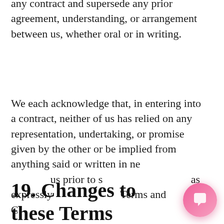any contract and supersede any prior agreement, understanding, or arrangement between us, whether oral or in writing.
We each acknowledge that, in entering into a contract, neither of us has relied on any representation, undertaking, or promise given by the other or be implied from anything said or written in negotiations between us prior to such contract except as expressly stated in these Terms and Conditions.
[Figure (screenshot): Chat widget popup with a circular logo labeled 'NAISTEN TYYLEERI', a close button (×), and the message: 'Got any questions? I'm happy to help.Jos sinulla on kysymyksiä, autan mielelläni.' Also shows a pink/gradient chat bubble button in the bottom right.]
19.  Changes to these Terms